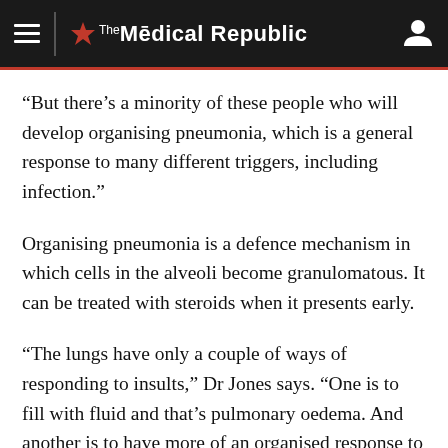The Medical Republic
“But there’s a minority of these people who will develop organising pneumonia, which is a general response to many different triggers, including infection.”
Organising pneumonia is a defence mechanism in which cells in the alveoli become granulomatous. It can be treated with steroids when it presents early.
“The lungs have only a couple of ways of responding to insults,” Dr Jones says. “One is to fill with fluid and that’s pulmonary oedema. And another is to have more of an organised response to attack the pathogen causing the insult. In this case, because this is a viral infection, which is initially inhaled, you may see changes around the airways, and as the